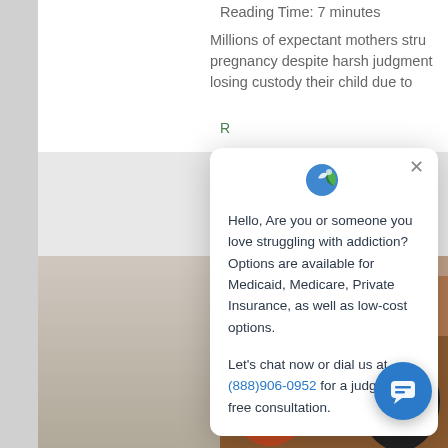Reading Time: 7 minutes
Millions of expectant mothers stru pregnancy despite harsh judgment losing custody their child due to
[Figure (screenshot): Chat widget popup modal with logo, close button, addiction help message with phone number, and blue chat button in bottom right corner]
Hello, Are you or someone you love struggling with addiction? Options are available for Medicaid, Medicare, Private Insurance, as well as low-cost options.

Let's chat now or dial us at (888)906-0952 for a judgment-free consultation.